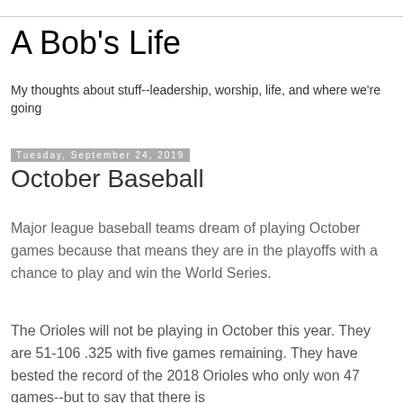A Bob's Life
My thoughts about stuff--leadership, worship, life, and where we're going
Tuesday, September 24, 2019
October Baseball
Major league baseball teams dream of playing October games because that means they are in the playoffs with a chance to play and win the World Series.
The Orioles will not be playing in October this year. They are 51-106 .325 with five games remaining. They have bested the record of the 2018 Orioles who only won 47 games--but to say that there is